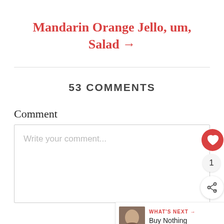Mandarin Orange Jello, um, Salad →
53 COMMENTS
Comment
Write your comment...
1
WHAT'S NEXT → Buy Nothing Group: 10/10